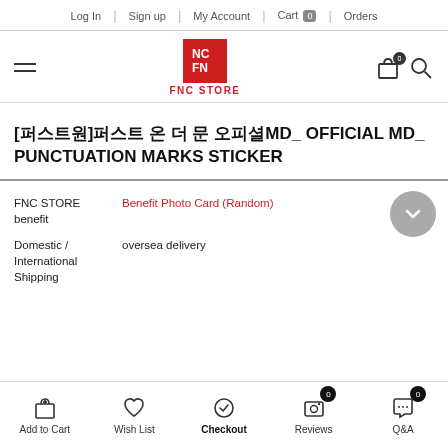Log In | Sign up | My Account | Cart 0 | Orders
[Figure (logo): FNC STORE logo - red square with FNC text in white, label FNC STORE below]
[퍼스트원]퍼스트 온 더 문 오피셜MD_ OFFICIAL MD_ PUNCTUATION MARKS STICKER
FNC STORE benefit: Benefit Photo Card (Random)
Domestic / International Shipping: oversea delivery
Add to Cart | Wish List | Checkout | Reviews | Q&A